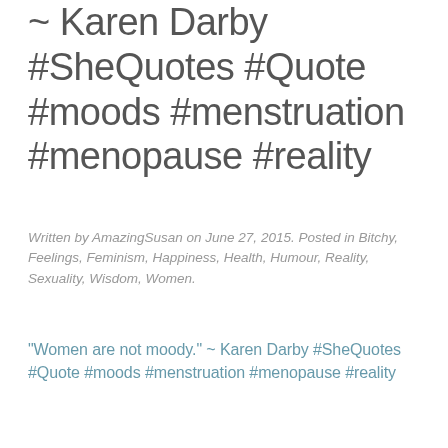~ Karen Darby #SheQuotes #Quote #moods #menstruation #menopause #reality
Written by AmazingSusan on June 27, 2015. Posted in Bitchy, Feelings, Feminism, Happiness, Health, Humour, Reality, Sexuality, Wisdom, Women.
"Women are not moody." ~ Karen Darby #SheQuotes #Quote #moods #menstruation #menopause #reality